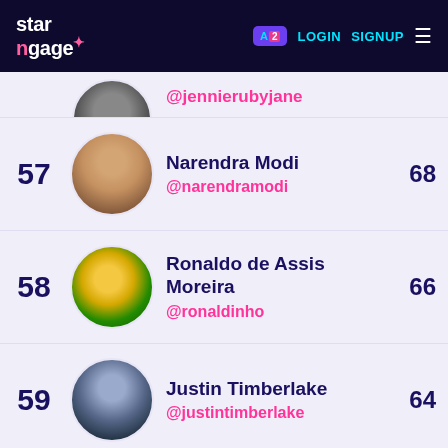starngage | LOGIN | SIGNUP
56 @jennierubyjane
57 Narendra Modi @narendramodi 68
58 Ronaldo de Assis Moreira @ronaldinho 66
59 Justin Timberlake @justintimberlake 64